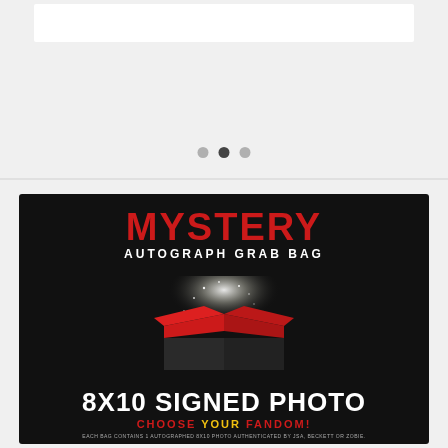[Figure (illustration): White card/banner area at top of page with light gray background]
[Figure (other): Three navigation dots (carousel indicator) with middle dot active/dark]
[Figure (photo): Mystery Autograph Grab Bag product image on black background showing red open box with sparkle light effect, text: MYSTERY AUTOGRAPH GRAB BAG, 8X10 SIGNED PHOTO, CHOOSE YOUR FANDOM!, EACH BAG CONTAINS 1 AUTOGRAPHED 8X10 PHOTO AUTHENTICATED BY JSA, BECKETT OR ZOBIE.]